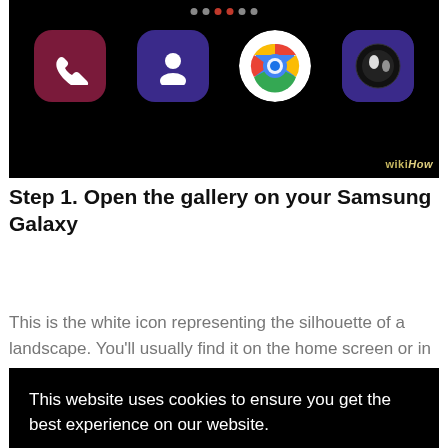[Figure (screenshot): Samsung Galaxy phone home screen showing app icons: phone (dark red), contacts (dark purple), Google Chrome, and Siri/voice assistant on black background. WikiHow watermark in bottom right.]
Step 1. Open the gallery on your Samsung Galaxy
This is the white icon representing the silhouette of a landscape. You'll usually find it on the home screen or in the apps drawer.
This website uses cookies to ensure you get the best experience on our website.
Learn more
Got it!